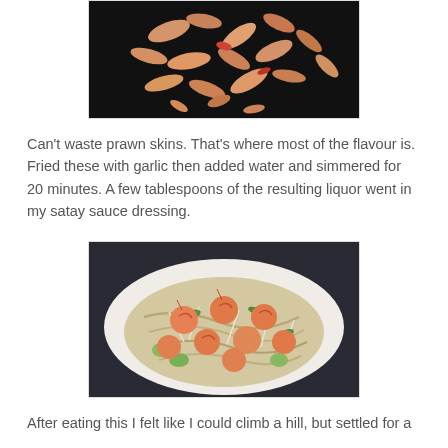[Figure (photo): Prawn skins/shells spread on a dark cooking surface, being fried]
Can't waste prawn skins. That's where most of the flavour is. Fried these with garlic then added water and simmered for 20 minutes. A few tablespoons of the resulting liquor went in my satay sauce dressing.
[Figure (photo): A plate of noodle salad topped with cooked prawns/shrimp, bean sprouts, cucumber slices, and herbs with a satay dressing]
After eating this I felt like I could climb a hill, but settled for a